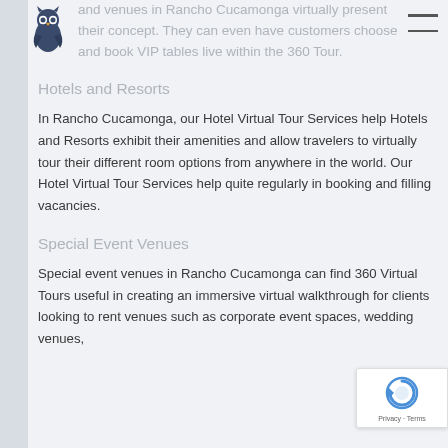[Figure (logo): Owl logo icon (dark blue owl silhouette)]
and venues in Rancho Cucamonga virtually present their concept. They can even have customers choose and book VIP tables live within the 360 Tour.
Hotels and Resorts
In Rancho Cucamonga, our Hotel Virtual Tour Services help Hotels and Resorts exhibit their amenities and allow travelers to virtually tour their different room options from anywhere in the world. Our Hotel Virtual Tour Services help quite regularly in booking and filling vacancies.
Special Event Venues
Special event venues in Rancho Cucamonga can find 360 Virtual Tours useful in creating an immersive virtual walkthrough for clients looking to rent venues such as corporate event spaces, wedding venues,
[Figure (other): Google reCAPTCHA badge with arrow icon and Privacy - Terms text]